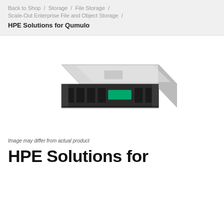Back to Shop / Storage / File Storage / Scale-Out Enterprise File and Object Storage / HPE Solutions for Qumulo
[Figure (photo): HPE 1U rack server shown in a 3/4 perspective view. The server has a dark front bezel with drive bays, a green indicator light/button, and a silver top chassis lid.]
Image may differ from actual product
HPE Solutions for